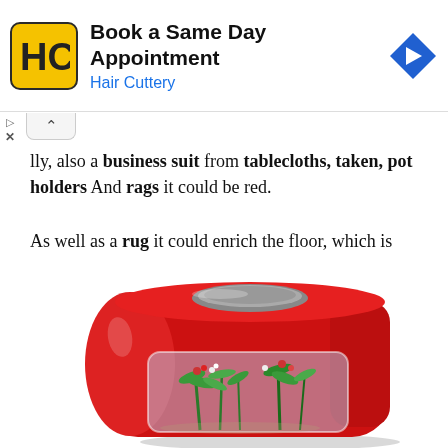[Figure (screenshot): Advertisement banner for Hair Cuttery: 'Book a Same Day Appointment' with HC logo and navigation arrow icon]
...lly, also a business suit from tablecloths, taken, pot holders And rags it could be red.
As well as a rug it could enrich the floor, which is usually left unguarded.
Or, again, what do you say to put a bell 'aquarium red in the kitchen?
[Figure (photo): A red bell-shaped aquarium with plants visible inside through a curved transparent front panel, with a circular opening on top]